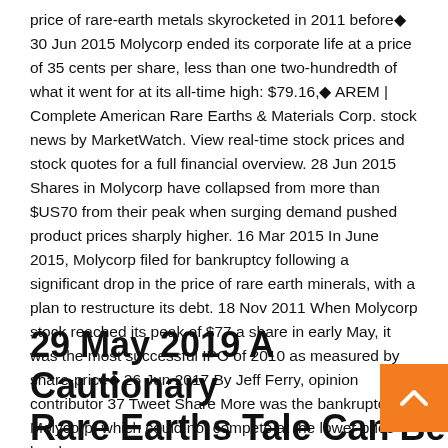price of rare-earth metals skyrocketed in 2011 before◆ 30 Jun 2015 Molycorp ended its corporate life at a price of 35 cents per share, less than one two-hundredth of what it went for at its all-time high: $79.16,◆ AREM | Complete American Rare Earths & Materials Corp. stock news by MarketWatch. View real-time stock prices and stock quotes for a full financial overview. 28 Jun 2015 Shares in Molycorp have collapsed from more than $US70 from their peak when surging demand pushed product prices sharply higher. 16 Mar 2015 In June 2015, Molycorp filed for bankruptcy following a significant drop in the price of rare earth minerals, with a plan to restructure its debt. 18 Nov 2011 When Molycorp stock reached its peak of $77 a share in early May, it was the most successful IPO of 2010 as measured by share-price◆ 26 Jun 2017 By Jeff Ferry, opinion contributor 37 Tweet Share More was the bankruptcy of Molycorp, which could not compete at the lower price levels.
29 May 2019 A Cautionary Rare Earths Tale Can Be